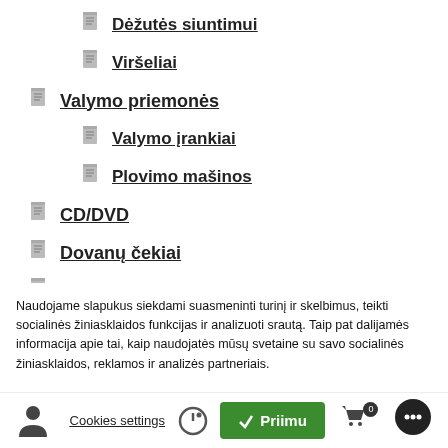Dėžutės siuntimui
Viršeliai
Valymo priemonės
Valymo įrankiai
Plovimo mašinos
CD/DVD
Dovanų čekiai
Išpardavimas
Naujienos
Naudojame slapukus siekdami suasmeninti turinį ir skelbimus, teikti socialinės žiniasklaidos funkcijas ir analizuoti srautą. Taip pat dalijamės informacija apie tai, kaip naudojatės mūsų svetaine su savo socialinės žiniasklaidos, reklamos ir analizės partneriais.
Cookies settings   Priimu